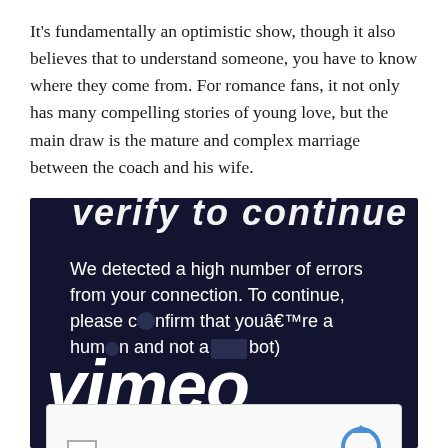It's fundamentally an optimistic show, though it also believes that to understand someone, you have to know where they come from. For romance fans, it not only has many compelling stories of young love, but the main draw is the mature and complex marriage between the coach and his wife.
[Figure (screenshot): A Vimeo error page screenshot on a dark navy background showing a 'Verify to continue' message, an error about high number of connection errors, the Vimeo logo, and a reCAPTCHA 'I'm not a robot' checkbox widget.]